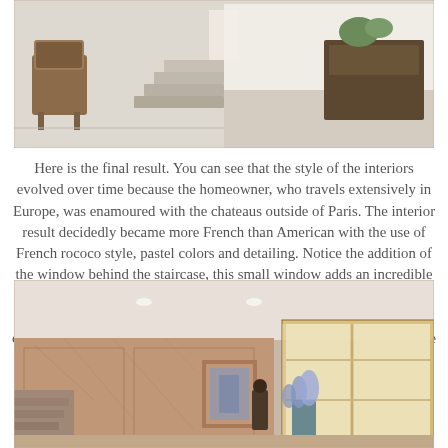[Figure (photo): Interior photo of a French-style entryway with ornate chair, staircase, and antique side table on marble floor]
Here is the final result. You can see that the style of the interiors evolved over time because the homeowner, who travels extensively in Europe, was enamoured with the chateaus outside of Paris. The interior result decidedly became more French than American with the use of French rococo style, pastel colors and detailing. Notice the addition of the window behind the staircase, this small window adds an incredible amount of natural light to the space. Also notice the new hand forged bronze railing - a true work of art. Meyer did an amazing job of capturing all the details and creating a space of reminiscent of a bygone era.
[Figure (photo): Interior photo of a large room with warm-toned marble walls, high ceiling, French doors with natural light, floral arrangement on table, and sculpture]